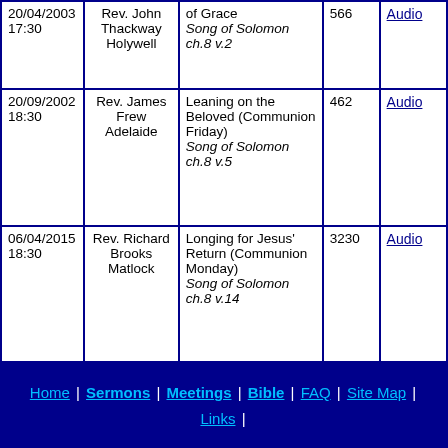| Date/Time | Speaker | Title/Scripture | Num | Audio |
| --- | --- | --- | --- | --- |
| 20/04/2003 17:30 | Rev. John Thackway Holywell | of Grace Song of Solomon ch.8 v.2 | 566 | Audio |
| 20/09/2002 18:30 | Rev. James Frew Adelaide | Leaning on the Beloved (Communion Friday) Song of Solomon ch.8 v.5 | 462 | Audio |
| 06/04/2015 18:30 | Rev. Richard Brooks Matlock | Longing for Jesus' Return (Communion Monday) Song of Solomon ch.8 v.14 | 3230 | Audio |
Home | Sermons | Meetings | Bible | FAQ | Site Map | Links |